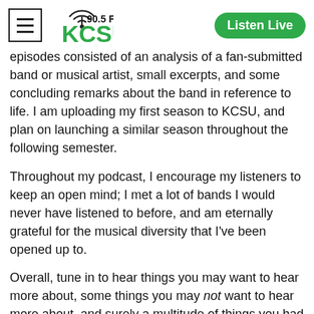[Figure (logo): KCSU 90.5 FM radio station logo with radio wave icon, hamburger menu icon, and green Listen Live button]
episodes consisted of an analysis of a fan-submitted band or musical artist, small excerpts, and some concluding remarks about the band in reference to life. I am uploading my first season to KCSU, and plan on launching a similar season throughout the following semester.
Throughout my podcast, I encourage my listeners to keep an open mind; I met a lot of bands I would never have listened to before, and am eternally grateful for the musical diversity that I've been opened up to.
Overall, tune in to hear things you may want to hear more about, some things you may not want to hear more about, and surely a multitude of things you had no clue you could even know more about!